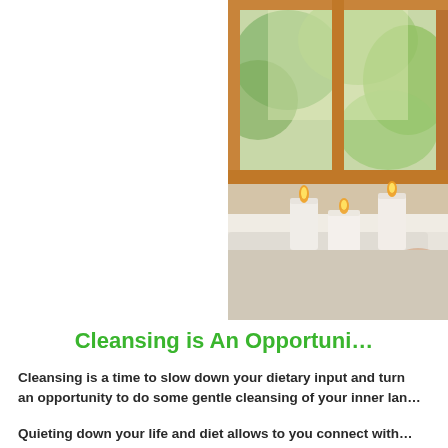[Figure (photo): A relaxing bathroom scene with lit candles on a bathtub ledge and a wooden-framed window with green trees visible outside]
Cleansing is An Opportuni…
Cleansing is a time to slow down your dietary input and turn an opportunity to do some gentle cleansing of your inner lan…
Quieting down your life and diet allows to you connect with…